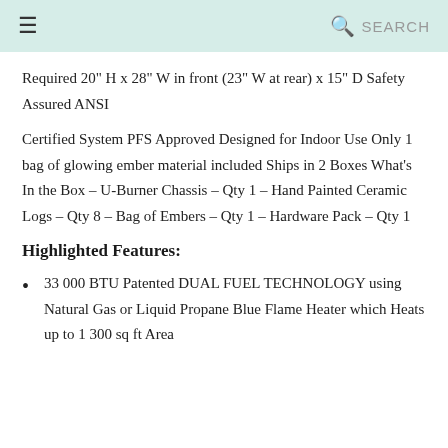≡   🔍 SEARCH
Required 20" H x 28" W in front (23" W at rear) x 15" D Safety Assured ANSI
Certified System PFS Approved Designed for Indoor Use Only 1 bag of glowing ember material included Ships in 2 Boxes What's In the Box – U-Burner Chassis – Qty 1 – Hand Painted Ceramic Logs – Qty 8 – Bag of Embers – Qty 1 – Hardware Pack – Qty 1
Highlighted Features:
33 000 BTU Patented DUAL FUEL TECHNOLOGY using Natural Gas or Liquid Propane Blue Flame Heater which Heats up to 1 300 sq ft Area